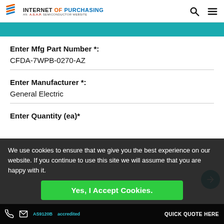INTERNET OF PURCHASING — AN A.S.A.P. SEMICONDUCTOR WEBSITE
Enter Mfg Part Number *: CFDA-7WPB-0270-AZ
Enter Manufacturer *: General Electric
Enter Quantity (ea)*
We use cookies to ensure that we give you the best experience on our website. If you continue to use this site we will assume that you are happy with it.
Yes, I Accept Cookies.
AS9120B accredited   QUICK QUOTE HERE